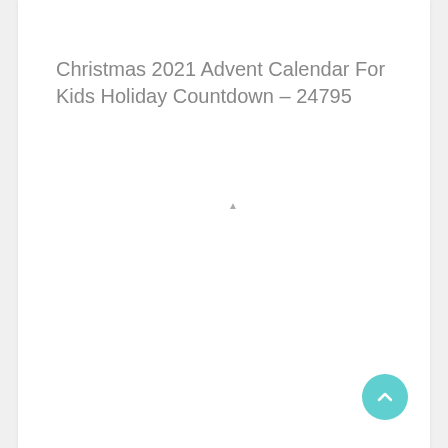Christmas 2021 Advent Calendar For Kids Holiday Countdown – 24795
[Figure (other): Scroll-to-top button: teal/turquoise circular button with an upward-pointing chevron arrow icon, positioned at bottom-right corner of the page.]